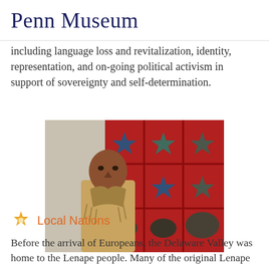Penn Museum
including language loss and revitalization, identity, representation, and on-going political activism in support of sovereignty and self-determination.
[Figure (photo): Portrait of a Native American man wearing a tan fringed leather jacket and bolo tie, standing in front of a colorful quilt with star and turtle designs on a red background.]
Local Nations
Before the arrival of Europeans, the Delaware Valley was home to the Lenape people. Many of the original Lenape families moved west to avoid Europeans, but a few